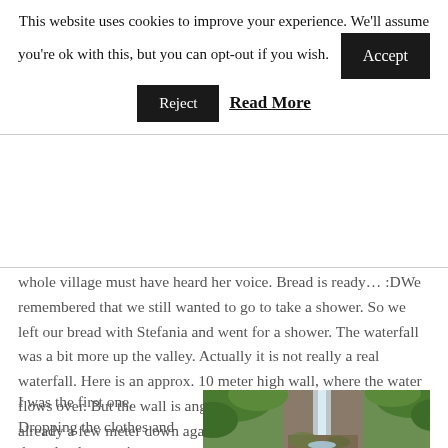This website uses cookies to improve your experience. We'll assume you're ok with this, but you can opt-out if you wish.
Accept | Reject | Read More
whole village must have heard her voice. Bread is ready… :DWe remembered that we still wanted to go to take a shower. So we left our bread with Stefania and went for a shower. The waterfall was a bit more up the valley. Actually it is not really a real waterfall. Here is an approx. 10 meter high wall, where the water flows over. But the wall is angular, so the water hits the wall already a few meter down again.
I was the first one. Dropping the clothes and then slowly stepping forwards.
[Figure (photo): A waterfall flowing over a rocky wall surrounded by green vegetation and trees]